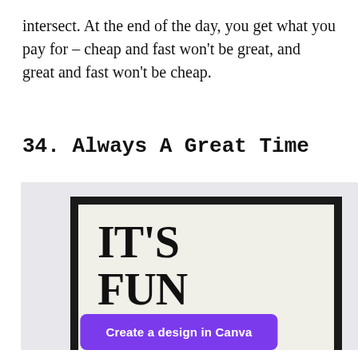intersect. At the end of the day, you get what you pay for – cheap and fast won't be great, and great and fast won't be cheap.
34. Always A Great Time
[Figure (photo): A framed poster with cream/off-white background and bold serif text reading 'IT'S FUN TO' (partially visible, cropped at bottom), displayed against a light grey background.]
Create a design in Canva